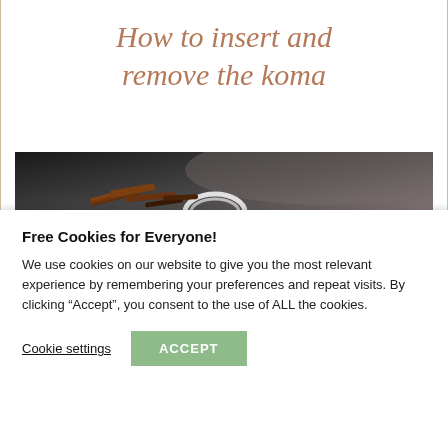How to insert and remove the koma
[Figure (photo): Photo of koma (bridge) pieces for a stringed instrument on a dark surface, showing wooden and metal components]
Free Cookies for Everyone!
We use cookies on our website to give you the most relevant experience by remembering your preferences and repeat visits. By clicking “Accept”, you consent to the use of ALL the cookies.
Cookie settings | ACCEPT